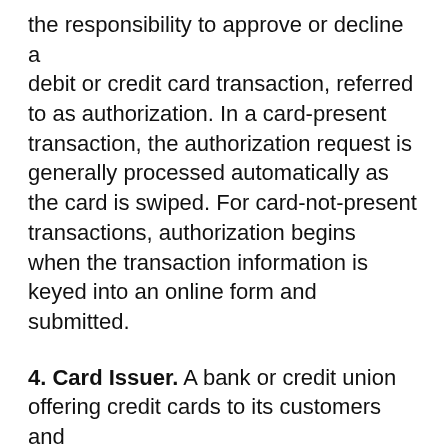the responsibility to approve or decline a debit or credit card transaction, referred to as authorization. In a card-present transaction, the authorization request is generally processed automatically as the card is swiped. For card-not-present transactions, authorization begins when the transaction information is keyed into an online form and submitted.
4. Card Issuer. A bank or credit union offering credit cards to its customers and establishing a credit limit. The card issuer sends payments from the customer's account to the merchant for purchases made. Also called member banks.